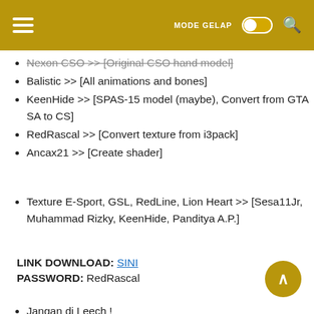MODE GELAP [toggle] [search]
Nexon CSO >> [Original CSO hand model]
Balistic >> [All animations and bones]
KeenHide >> [SPAS-15 model (maybe), Convert from GTA SA to CS]
RedRascal >> [Convert texture from i3pack]
Ancax21 >> [Create shader]
Texture E-Sport, GSL, RedLine, Lion Heart >> [Sesa11Jr, Muhammad Rizky, KeenHide, Panditya A.P.]
LINK DOWNLOAD: SINI
PASSWORD: RedRascal
Jangan di Leech !
Kalau mau share silahkan, asalkan sertakan CREDITS